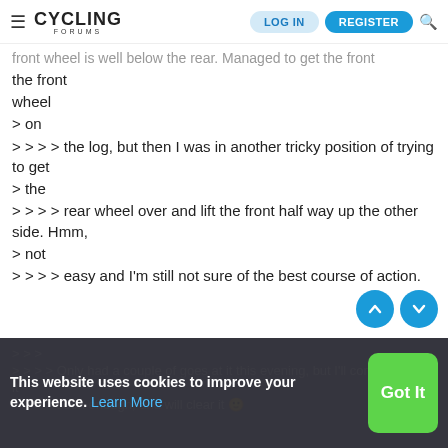Cycling Forums — LOG IN | REGISTER
front wheel is well below the rear. Managed to get the front
wheel
> on
> > > > the log, but then I was in another tricky position of trying to get
> the
> > > > rear wheel over and lift the front half way up the other side. Hmm,
> not
> > > > easy and I'm still not sure of the best course of action.
> > > >
> > > > Only had a couple of goes at it this evening, but I'll come back to
it
> > > > soon enough, and will clear it 🙂